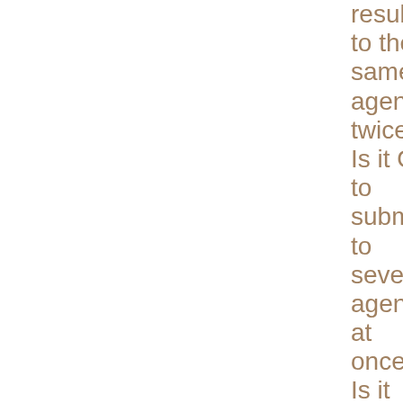resubmit to the same agent twice?  Is it OK to submit to several agents at once?  Is it okay to include a longer